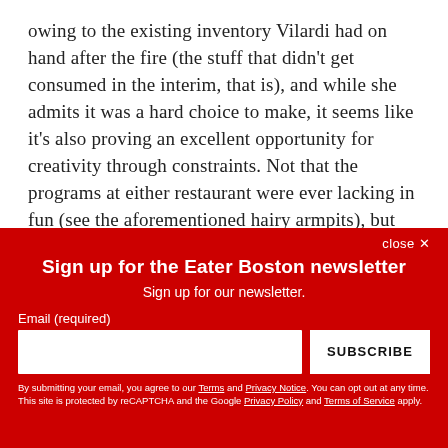owing to the existing inventory Vilardi had on hand after the fire (the stuff that didn’t get consumed in the interim, that is), and while she admits it was a hard choice to make, it seems like it’s also proving an excellent opportunity for creativity through constraints. Not that the programs at either restaurant were ever lacking in fun (see the aforementioned hairy armpits), but sometimes being faced with limitations is what forces chefs and wine directors alike
Sign up for the Eater Boston newsletter
Sign up for our newsletter.
Email (required)
SUBSCRIBE
By submitting your email, you agree to our Terms and Privacy Notice. You can opt out at any time. This site is protected by reCAPTCHA and the Google Privacy Policy and Terms of Service apply.